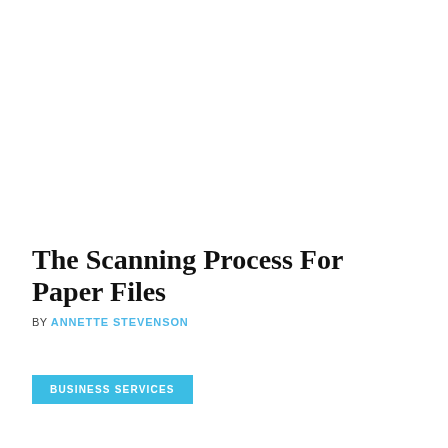The Scanning Process For Paper Files
BY ANNETTE STEVENSON
BUSINESS SERVICES